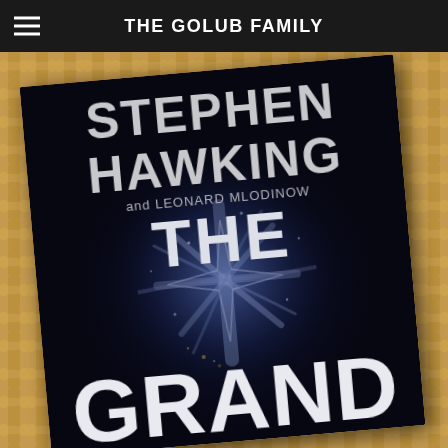reasoning. I'm ready and willing to listen to some.
THE GOLUB FAMILY
[Figure (photo): A book placed on a wicker/rattan surface. The book is 'The Grand Design' by Stephen Hawking and Leonard Mlodinow. The cover is dark/black with a star-like nebula graphic in the center. Large white text shows the authors' names (STEPHEN HAWKING and LEONARD MLODINOW) and the title (THE GRAND...).]